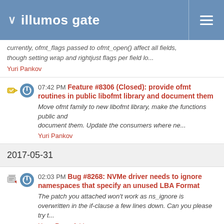illumos gate
currently, ofmt_flags passed to ofmt_open() affect all fields, though setting wrap and rightjust flags per field lo...
Yuri Pankov
07:42 PM Feature #8306 (Closed): provide ofmt routines in public libofmt library and document them
Move ofmt family to new libofmt library, make the functions public and
document them. Update the consumers where ne...
Yuri Pankov
2017-05-31
02:03 PM Bug #8268: NVMe driver needs to ignore namespaces that specify an unused LBA Format
The patch you attached won't work as ns_ignore is overwritten in the if-clause a few lines down. Can you please try t...
Hans Rosenfeld